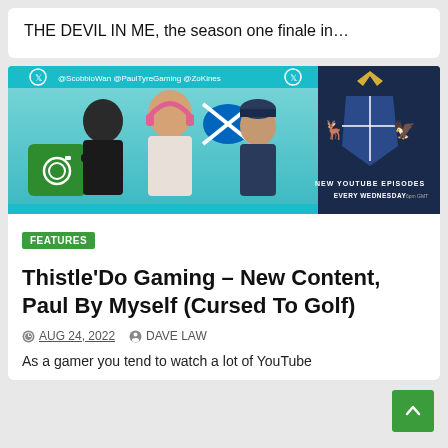THE DEVIL IN ME, the season one finale in…
[Figure (photo): Banner image for Thistle'Do Gaming YouTube channel showing three people and a coat of arms logo with text '@ScobbioWan @PaulTyreGaming @ZoKines' and 'NEW YOUTUBE EPISODES EVERY WEDNESDAY']
FEATURES
Thistle'Do Gaming – New Content, Paul By Myself (Cursed To Golf)
AUG 24, 2022   DAVE LAW
As a gamer you tend to watch a lot of YouTube